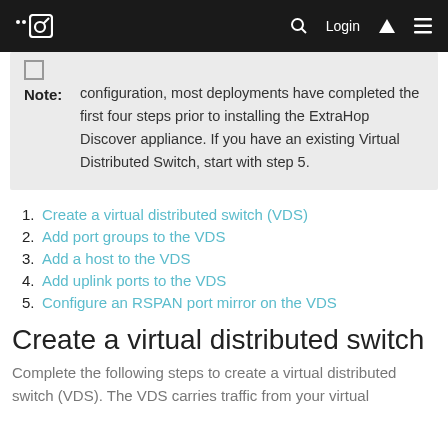ExtraHop documentation site navigation bar with logo, search, Login, home, and menu icons
Note: configuration, most deployments have completed the first four steps prior to installing the ExtraHop Discover appliance. If you have an existing Virtual Distributed Switch, start with step 5.
1. Create a virtual distributed switch (VDS)
2. Add port groups to the VDS
3. Add a host to the VDS
4. Add uplink ports to the VDS
5. Configure an RSPAN port mirror on the VDS
Create a virtual distributed switch
Complete the following steps to create a virtual distributed switch (VDS). The VDS carries traffic from your virtual